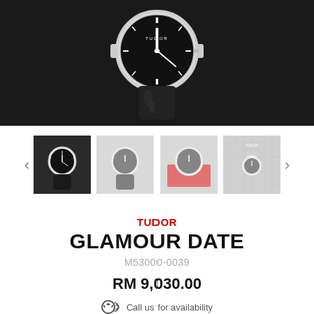[Figure (photo): Large product photo of a Tudor Glamour Date wristwatch with black dial and black leather/rubber strap, displayed face-up on a dark background]
[Figure (photo): Thumbnail gallery row with 4 watch images and left/right navigation arrows. First thumbnail selected (dark background with watch), second dimmed watch on grey/red background, third dimmed watch in red box, fourth dimmed watch on grey patterned background.]
TUDOR
GLAMOUR DATE
M53000-0039
RM 9,030.00
Call us for availability